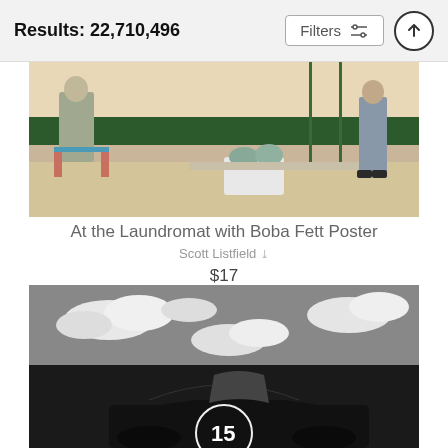Results: 22,710,496
Filters
[Figure (photo): Painting of a laundromat scene with a figure sitting in a chair and another person in the background; Boba Fett helmets in a laundry basket on a counter.]
At the Laundromat with Boba Fett Poster
Scott Listfield
$17
[Figure (photo): Black and white photograph of a racing car (number 15) with a dramatic cloudy sky in the background.]